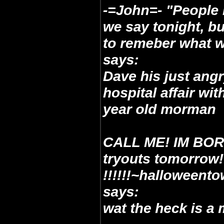-=John=- "People ma... we say tonight, but th... to remeber what we d... says: Dave his just angry p... hospital affair with ch... year old morman

CALL ME! IM BORED... tryouts tomorrow!! !!!!!!~halloweentownt... says: wat the heck is a mor...